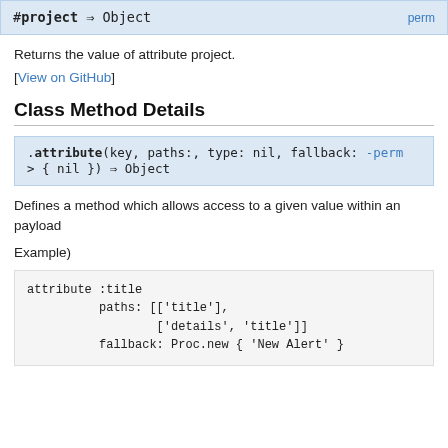#project ⇒ Object
Returns the value of attribute project.
[View on GitHub]
Class Method Details
.attribute(key, paths:, type: nil, fallback: -perm
> { nil }) ⇒ Object
Defines a method which allows access to a given value within an payload
Example)
attribute :title
          paths: [['title'],
                  ['details', 'title']]
          fallback: Proc.new { 'New Alert' }